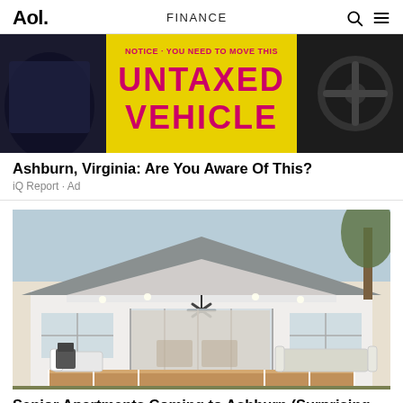Aol. FINANCE
[Figure (photo): Yellow 'UNTAXED VEHICLE' sign surrounded by dark car interior imagery]
Ashburn, Virginia: Are You Aware Of This?
iQ Report · Ad
[Figure (photo): Modern white bungalow house with large covered patio, ceiling fan, outdoor furniture, and a wooden deck]
Senior Apartments Coming to Ashburn (Surprising Prices)